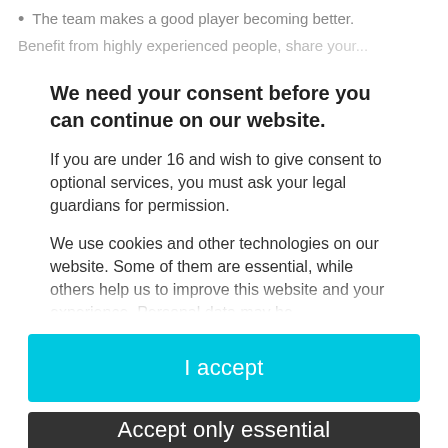The team makes a good player becoming better.
Benefit from highly experienced people, share your...
We need your consent before you can continue on our website.
If you are under 16 and wish to give consent to optional services, you must ask your legal guardians for permission.
We use cookies and other technologies on our website. Some of them are essential, while others help us to improve this website and your experience. Personal data may be...
I accept
Accept only essential